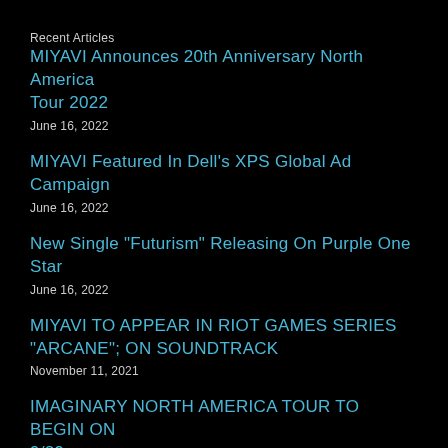Recent Articles
MIYAVI Announces 20th Anniversary North America Tour 2022
June 16, 2022
MIYAVI Featured In Dell's XPS Global Ad Campaign
June 16, 2022
New Single "Futurism" Releasing On Purple One Star
June 16, 2022
MIYAVI TO APPEAR IN RIOT GAMES SERIES "ARCANE"; ON SOUNDTRACK
November 11, 2021
IMAGINARY NORTH AMERICA TOUR TO BEGIN ON 9/29
September 28, 2021